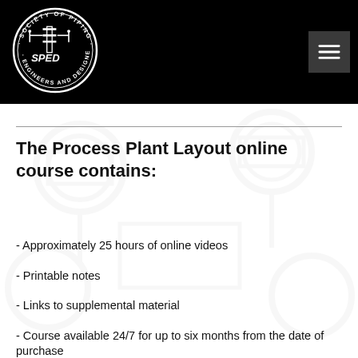Society of Piping Engineers and Designers (SPED) — navigation header
The Process Plant Layout online course contains:
- Approximately 25 hours of online videos
- Printable notes
- Links to supplemental material
- Course available 24/7 for up to six months from the date of purchase